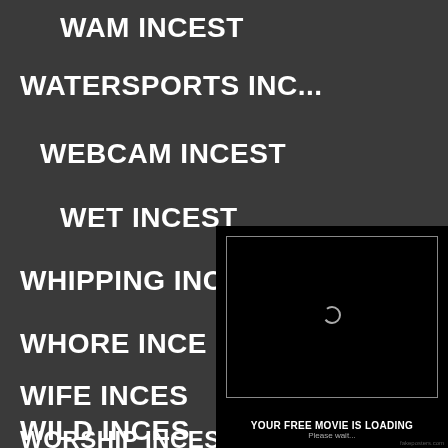WAM INCEST
WATERSPORTS INC...
WEBCAM INCEST
WET INCEST
WHIPPING INCEST
WHORE INCE
WIFE INCES
WILD INCES
WORSHIP INCEST
[Figure (screenshot): A fake video player overlay showing a black screen with a white-bordered rectangle, a loading spinner icon in the center, text 'YOUR FREE MOVIE IS LOADING' and 'Please wait...' below, with a watermark 'fakeposters.com' at the bottom right.]